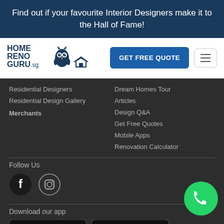Find out if your favourite Interior Designers make it to the Hall of Fame!
[Figure (logo): HomeRenoGuru.sg logo with owl icon]
GET FREE QUOTE
Residential Designers
Residential Design Gallery
Merchants
Dream Homes Tour
Articles
Design Q&A
Get Free Quotes
Mobile Apps
Renovation Calculator
Follow Us
[Figure (illustration): Facebook and Instagram social media icons (circles)]
[Figure (illustration): WhatsApp floating button (green circle with phone icon)]
Download our app
[Figure (illustration): Apple App Store download badge]
[Figure (illustration): Google Play Store download badge]